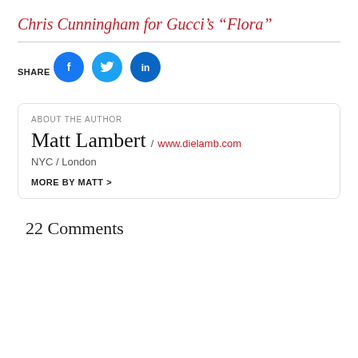Chris Cunningham for Gucci’s “Flora”
SHARE
[Figure (infographic): Three social media share buttons: Facebook (blue circle with f icon), Twitter (light blue circle with bird icon), LinkedIn (dark blue circle with 'in' icon)]
ABOUT THE AUTHOR
Matt Lambert / www.dielamb.com
NYC / London
MORE BY MATT >
22 Comments